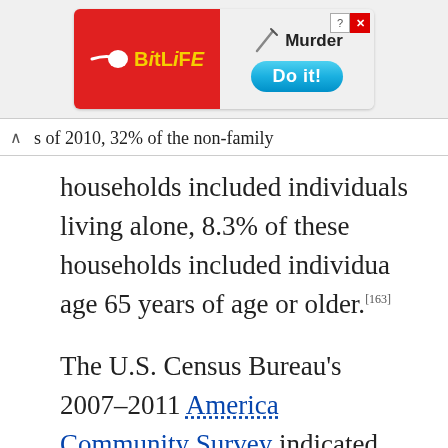[Figure (other): BitLife mobile game advertisement banner with red left panel showing sperm logo and 'BitLife' text in yellow, and right panel showing knife graphic, 'Murder' text, and a blue 'Do it!' button]
s of 2010, 32% of the non-family households included individuals living alone, 8.3% of these households included individuals age 65 years of age or older.[163]
The U.S. Census Bureau's 2007–2011 American Community Survey indicated the median household income for Indianapolis city was $42,704, and the median family income was $53,161.[165] Median income for males working